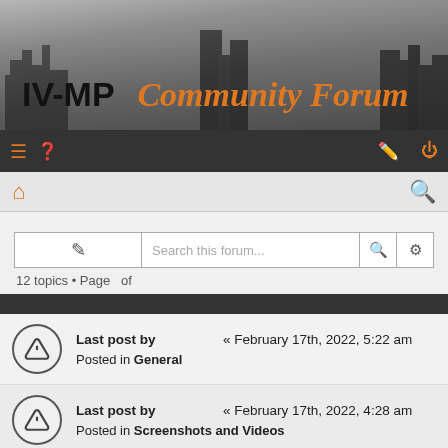[Figure (screenshot): IV-MP Community Forum header banner with city skyline background]
IV-MP  Community Forum
Navigation bar with menu, help, edit, and power icons
Breadcrumb bar with home icon and search icon
New topic button, Search this forum... input, search and settings buttons. 12 topics • Page  of
Last post by  « February 17th, 2022, 5:22 am
Posted in General
Last post by  « February 17th, 2022, 4:28 am
Posted in Screenshots and Videos